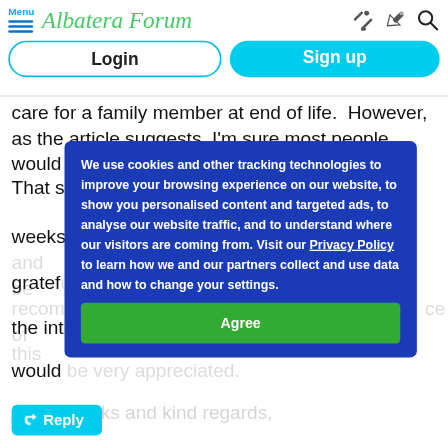Menu | Albatera Forum
Login
Sign up
care for a family member at end of life.  However, as the article suggests, I'm sure most people would want t... asap. That s... weeks... I'd be gratef... ce of the int... s, would...
We use cookies and other tracking technologies to improve your browsing experience on our website, to show you personalised content and targeted ads, to analyse our website traffic, and to understand where our visitors are coming from. Visit our Privacy Policy to learn how we and our partners collect and use data and how to change your settings.
Agree
Many thanks and kind regards,
Kim
Reply